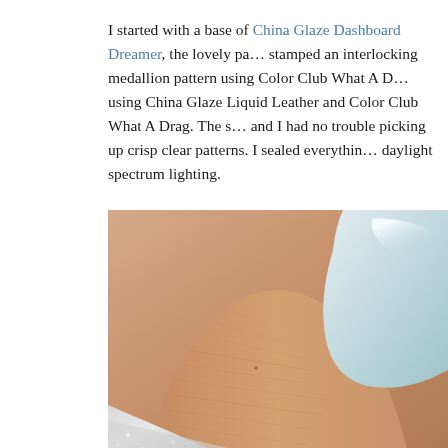I started with a base of China Glaze Dashboard Dreamer, the lovely pa… stamped an interlocking medallion pattern using Color Club What A D… using China Glaze Liquid Leather and Color Club What A Drag. The s… and I had no trouble picking up crisp clear patterns. I sealed everythin… daylight spectrum lighting.
[Figure (photo): Close-up macro photograph of a finger with light pastel blue/mint nail polish, showing skin texture and a silver glitter nail visible at the bottom edge.]